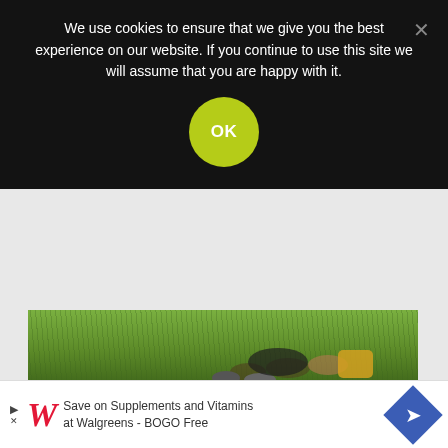We use cookies to ensure that we give you the best experience on our website. If you continue to use this site we will assume that you are happy with it.
[Figure (photo): Person lying on grass outdoors, partial view of legs and hands, wearing sneakers, with a yellow/orange object nearby]
How Smart Does One Need to Be to Ignore an Authority's Opinion? Imagination and IQ
M. D. Poole
[Figure (infographic): Advertisement: Save on Supplements and Vitamins at Walgreens - BOGO Free, with Walgreens logo and blue direction sign]